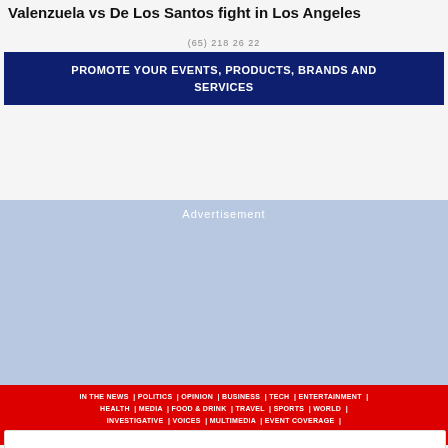Valenzuela vs De Los Santos fight in Los Angeles
(65) 218 26 22
[Figure (infographic): Dark navy blue promotional banner reading: PROMOTE YOUR EVENTS, PRODUCTS, BRANDS AND SERVICES]
[Figure (other): Advertisement placeholder area with light blue-grey background and 'Advertisement' label in white text]
IN THE NEWS | POLITICS | OPINION | BUSINESS | TECH | ENTERTAINMENT | HEALTH | MEDIA | FOOD & DRINK | TRAVEL | SPORTS | WORLD | INVESTIGATIVE | VOICES | MULTIMEDIA | EVENT COVERAGE | SPONSORED CONTENT